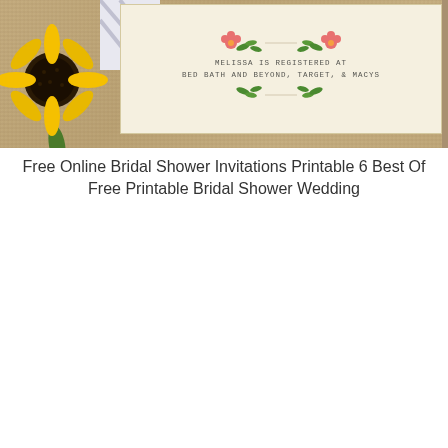[Figure (illustration): Bridal shower invitation card showing a burlap texture background with a large yellow sunflower on the lower left, and a cream-colored card overlay in the center-right with floral decorations and text reading 'MELISSA IS REGISTERED AT BED BATH AND BEYOND, TARGET, & MACYS']
Free Online Bridal Shower Invitations Printable 6 Best Of Free Printable Bridal Shower Wedding